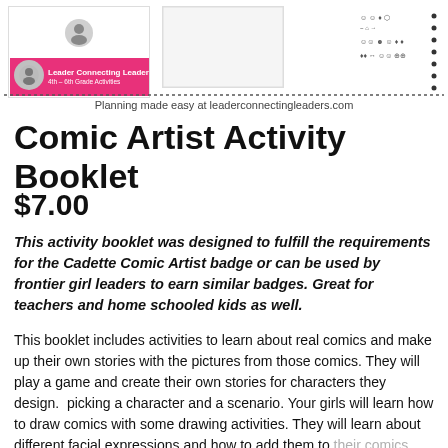[Figure (illustration): Header area showing a pink branded booklet cover for 'Leader Connecting Leaders 4th-6th Grade Activities', a blank white card/panel, and a dots/emoji pattern sheet on the right. A dotted border separates the images from the text below.]
Planning made easy at leaderconnectingleaders.com
Comic Artist Activity Booklet
$7.00
This activity booklet was designed to fulfill the requirements for the Cadette Comic Artist badge or can be used by frontier girl leaders to earn similar badges. Great for teachers and home schooled kids as well.
This booklet includes activities to learn about real comics and make up their own stories with the pictures from those comics. They will play a game and create their own stories for characters they design.  picking a character and a scenario. Your girls will learn how to draw comics with some drawing activities. They will learn about different facial expressions and how to add them to their comics. Then add words to their comic strips using speech bubbles.